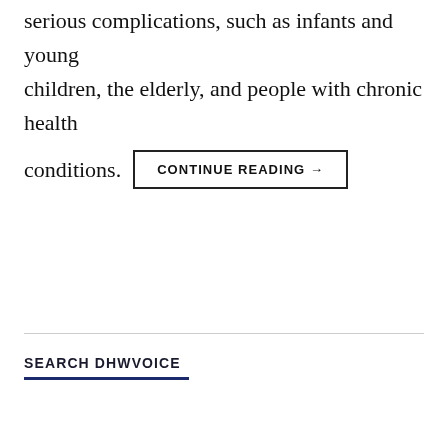serious complications, such as infants and young children, the elderly, and people with chronic health conditions.
CONTINUE READING →
SEARCH DHWVOICE